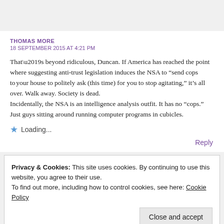THOMAS MORE
18 SEPTEMBER 2015 AT 4:21 PM
That’s beyond ridiculous, Duncan. If America has reached the point where suggesting anti-trust legislation induces the NSA to “send cops to your house to politely ask (this time) for you to stop agitating,” it’s all over. Walk away. Society is dead.
Incidentally, the NSA is an intelligence analysis outfit. It has no “cops.” Just guys sitting around running computer programs in cubicles.
Loading...
Reply
Privacy & Cookies: This site uses cookies. By continuing to use this website, you agree to their use.
To find out more, including how to control cookies, see here: Cookie Policy
Close and accept
Enter your comment here...